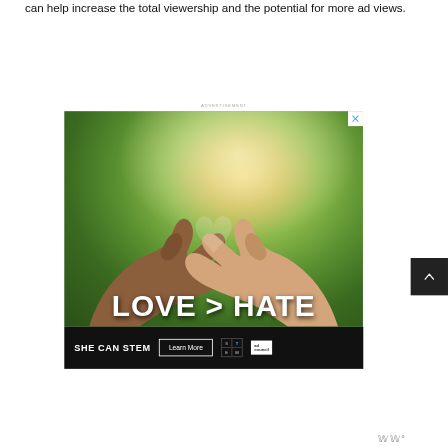can help increase the total viewership and the potential for more ad views.
ADVERTISEMENT
[Figure (photo): Advertisement image showing two hands of different skin tones forming a heart shape against a green bokeh background, with text 'LOVE > HATE' at the bottom. Below is a banner for 'SHE CAN STEM' with a 'Learn More' button, STEM logo, and Ad Council logo.]